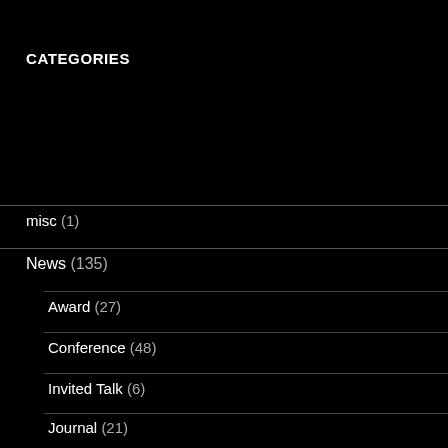CATEGORIES
misc (1)
News (135)
Award (27)
Conference (48)
Invited Talk (6)
Journal (21)
ARCHIVES
July 2022